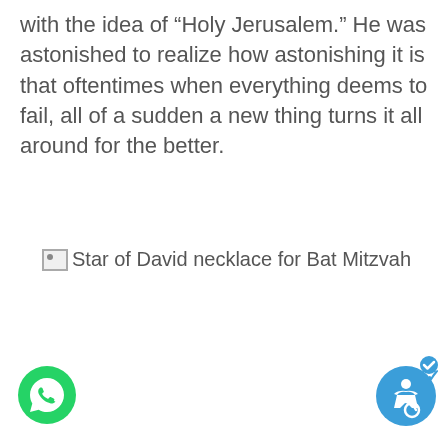with the idea of “Holy Jerusalem.” He was astonished to realize how astonishing it is that oftentimes when everything deems to fail, all of a sudden a new thing turns it all around for the better.
[Figure (illustration): Broken image placeholder with alt text: Star of David necklace for Bat Mitzvah]